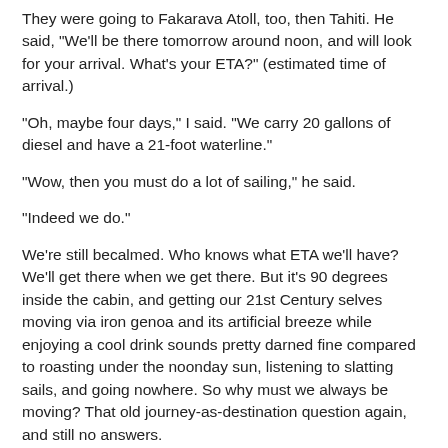They were going to Fakarava Atoll, too, then Tahiti. He said, "We'll be there tomorrow around noon, and will look for your arrival. What's your ETA?" (estimated time of arrival.)
"Oh, maybe four days," I said. "We carry 20 gallons of diesel and have a 21-foot waterline."
"Wow, then you must do a lot of sailing," he said.
"Indeed we do."
We're still becalmed. Who knows what ETA we'll have? We'll get there when we get there. But it's 90 degrees inside the cabin, and getting our 21st Century selves moving via iron genoa and its artificial breeze while enjoying a cool drink sounds pretty darned fine compared to roasting under the noonday sun, listening to slatting sails, and going nowhere. So why must we always be moving? That old journey-as-destination question again, and still no answers.
We just had a swim call. It's one of the bennies of a calm day at sea.